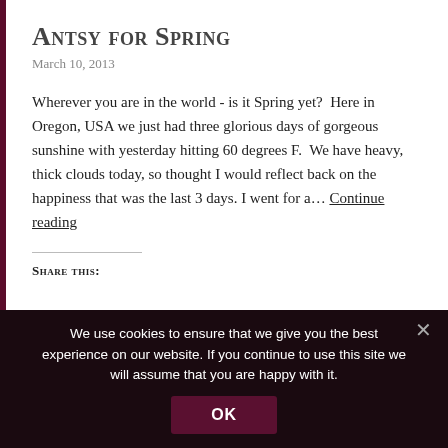Antsy for Spring
March 10, 2013
Wherever you are in the world - is it Spring yet?  Here in Oregon, USA we just had three glorious days of gorgeous sunshine with yesterday hitting 60 degrees F.  We have heavy, thick clouds today, so thought I would reflect back on the happiness that was the last 3 days. I went for a… Continue reading
Share this:
We use cookies to ensure that we give you the best experience on our website. If you continue to use this site we will assume that you are happy with it.
OK